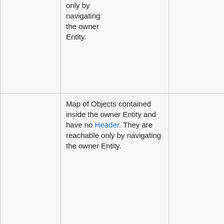|  | Description | Java Type |
| --- | --- | --- |
|  | only by navigating the owner Entity. |  |
| Embedded map | Map of Objects contained inside the owner Entity and have no Header. They are reachable only by navigating the owner Entity. | Map<String, ? extends org.gcube.infor... |
| Byte | Single byte. usesful to store small 8-bit signed integers | java.lang.Byte |
|  | Can contain |  |